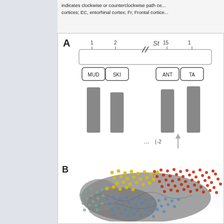indicates clockwise or counterclockwise path ce... cortices; EC, entorhinal cortex; Fr, Frontal cortice...
[Figure (schematic): Panel A: Experimental stimulus schematic showing numbered word stimuli (1=MUD, 2=SKI, 15=ANT, 16=TA...) on a timeline with ECoG activity bars below. A timeline axis with break marks is shown, and a -2 label with an upward arrow. Panel B: 3D brain rendering viewed from lateral side with colored electrode dots (red, yellow, blue, grey/teal) representing different brain regions.]